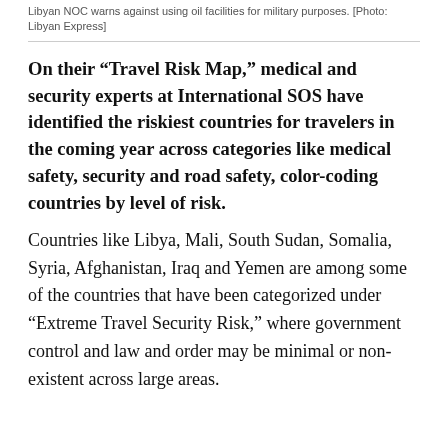Libyan NOC warns against using oil facilities for military purposes. [Photo: Libyan Express]
On their “Travel Risk Map,” medical and security experts at International SOS have identified the riskiest countries for travelers in the coming year across categories like medical safety, security and road safety, color-coding countries by level of risk.
Countries like Libya, Mali, South Sudan, Somalia, Syria, Afghanistan, Iraq and Yemen are among some of the countries that have been categorized under “Extreme Travel Security Risk,” where government control and law and order may be minimal or non-existent across large areas.